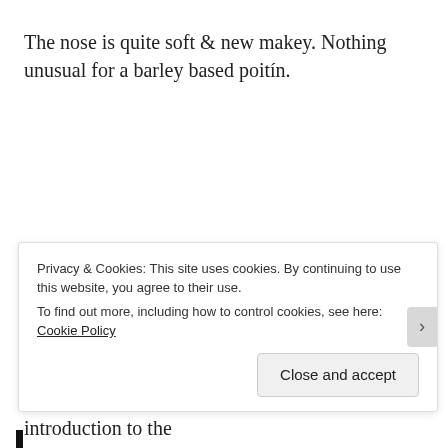The nose is quite soft & new makey. Nothing unusual for a barley based poitín.
Very smooth on the palate. No harshness here!
On the finish I'm embraced by a warming hug of heat!
Delightfully engaging & a very friendly introduction to the poitín category.
Privacy & Cookies: This site uses cookies. By continuing to use this website, you agree to their use. To find out more, including how to control cookies, see here: Cookie Policy
Close and accept